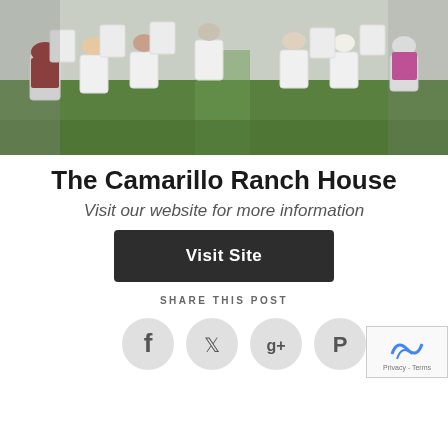[Figure (photo): Outdoor gathering showing people seated in white plastic chairs on green grass, viewed from behind, with an aisle down the middle]
The Camarillo Ranch House
Visit our website for more information
Visit Site
SHARE THIS POST
[Figure (other): Four social media share buttons: Facebook, Twitter, Google+, Pinterest, each in a light grey circle]